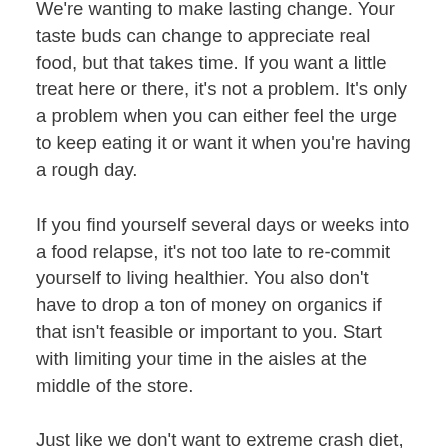We're wanting to make lasting change. Your taste buds can change to appreciate real food, but that takes time. If you want a little treat here or there, it's not a problem. It's only a problem when you can either feel the urge to keep eating it or want it when you're having a rough day.
If you find yourself several days or weeks into a food relapse, it's not too late to re-commit yourself to living healthier. You also don't have to drop a ton of money on organics if that isn't feasible or important to you. Start with limiting your time in the aisles at the middle of the store.
Just like we don't want to extreme crash diet, we don't want to extreme calorie count either. Love your body in moderation. As a woman, if your caloric